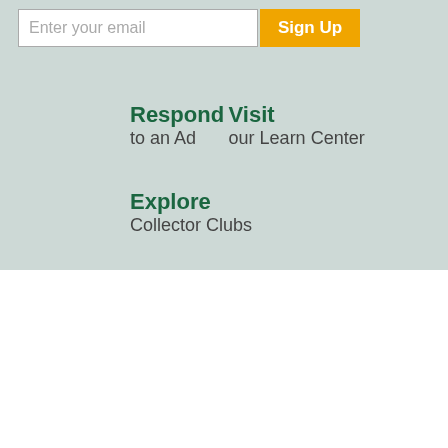Enter your email | Sign Up
Respond
to an Ad
Visit
our Learn Center
Explore
Collector Clubs
SHOP by Catalog
PAY an Invoice
FREE Catalogs
CUSTOM
Shopping Information
Littleton Rewards
U.S. Coin Release Dates
Site Map
Customer Support
My Account
Check Order Status
Contact Us